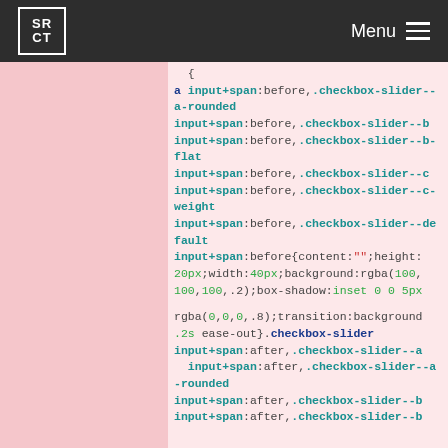SRCT Menu
a input+span:before,.checkbox-slider--a-rounded input+span:before,.checkbox-slider--b input+span:before,.checkbox-slider--b-flat input+span:before,.checkbox-slider--c input+span:before,.checkbox-slider--c-weight input+span:before,.checkbox-slider--default input+span:before{content:"";height:20px;width:40px;background:rgba(100,100,100,.2);box-shadow:inset 0 0 5px rgba(0,0,0,.8);transition:background .2s ease-out}.checkbox-slider input+span:after,.checkbox-slider--a input+span:after,.checkbox-slider--a-rounded input+span:after,.checkbox-slider--b input+span:after